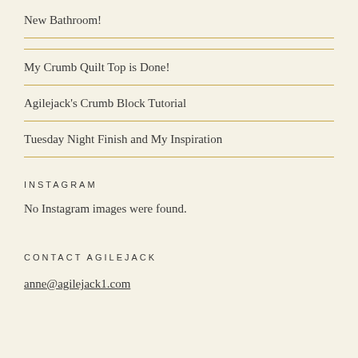New Bathroom!
My Crumb Quilt Top is Done!
Agilejack's Crumb Block Tutorial
Tuesday Night Finish and My Inspiration
INSTAGRAM
No Instagram images were found.
CONTACT AGILEJACK
anne@agilejack1.com